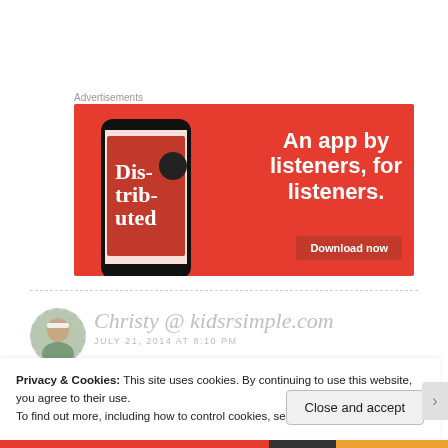Advertisements
[Figure (screenshot): Red advertisement banner for a podcast app showing a phone with 'Distributed' podcast, text 'An app by listeners, for listeners.' and a 'Download now' button]
[Figure (photo): Circular avatar photo of a person wearing a white visor cap, with a dashed circular border]
Christy @ kidsrsimple.com
JULY 21, 2014 AT 8:10 PM
Privacy & Cookies: This site uses cookies. By continuing to use this website, you agree to their use.
To find out more, including how to control cookies, see here: Cookie Policy
Close and accept